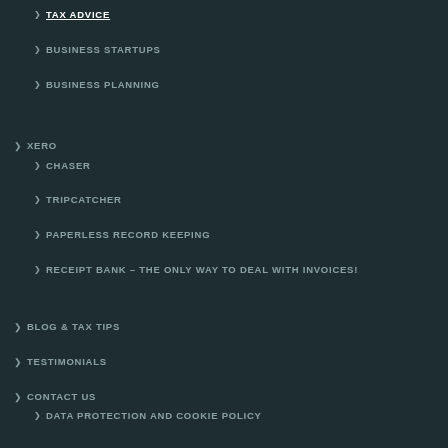TAX ADVICE
BUSINESS STARTUPS
BUSINESS PLANNING
XERO
CHASER
TRIPCATCHER
PAPERLESS RECORD KEEPING
RECEIPT BANK – THE ONLY WAY TO DEAL WITH INVOICES!
BLOG & TAX TIPS
TESTIMONIALS
CONTACT US
DATA PROTECTION AND COOKIE POLICY